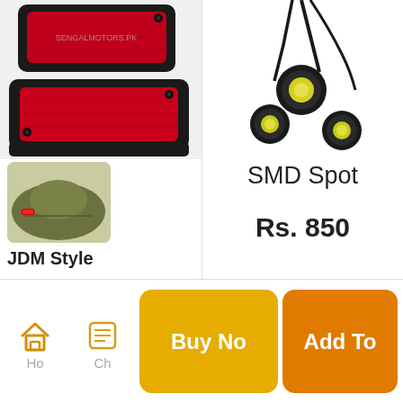[Figure (photo): Two red rectangular reflectors with black frames, branded SENGALMOTORS.PK]
[Figure (photo): SMD spot lights with wiring and yellow LED elements on black circular mounts]
[Figure (photo): Olive/green colored car with red side marker light installed]
JDM Style
SMD Spot
Rs. 850
[Figure (infographic): Bottom navigation bar with Home icon, Chat icon, Buy Now button (golden), and Add To button (orange)]